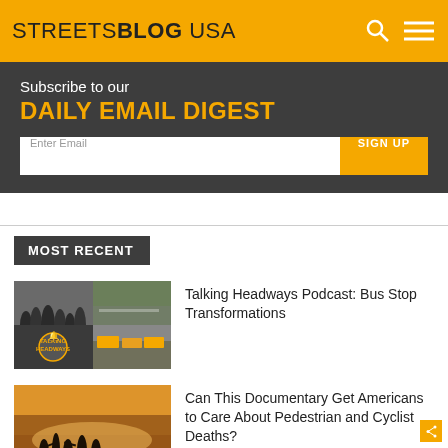STREETSBLOG USA
Subscribe to our DAILY EMAIL DIGEST
Enter Email | SIGN UP
MOST RECENT
[Figure (photo): Collage of bus stop and traffic photos for Talking Headways Podcast article]
Talking Headways Podcast: Bus Stop Transformations
[Figure (photo): Silhouettes of people against a sunset sky for documentary article]
Can This Documentary Get Americans to Care About Pedestrian and Cyclist Deaths?